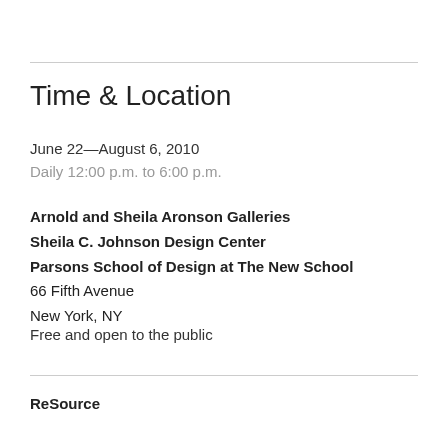Time & Location
June 22—August 6, 2010
Daily 12:00 p.m. to 6:00 p.m.
Arnold and Sheila Aronson Galleries
Sheila C. Johnson Design Center
Parsons School of Design at The New School
66 Fifth Avenue
New York, NY
Free and open to the public
ReSource